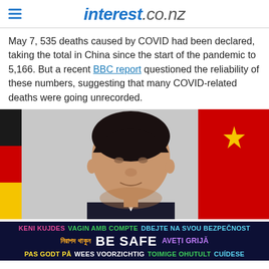interest.co.nz
May 7, 535 deaths caused by COVID had been declared, taking the total in China since the start of the pandemic to 5,166. But a recent BBC report questioned the reliability of these numbers, suggesting that many COVID-related deaths were going unrecorded.
[Figure (photo): Portrait photo of a man in a dark suit in front of a Chinese flag (red with yellow star) and a German flag (black, red, gold). Background is grey.]
KENI KUJDES  VAGIN AMB COMPTE  DBEJTE NA SVOU BEZPEČNOST  নিরাপদ থাকুন  BE SAFE  AVEȚI GRIJĂ  PAS GODT PÅ  WEES VOORZICHTIG  TOIMIGE OHUTULT  CUÍDESE